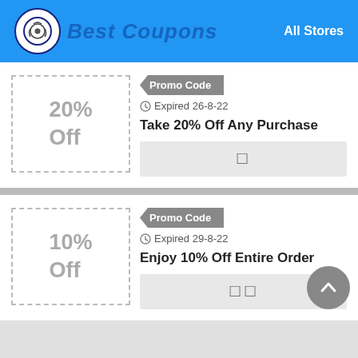Best Coupons — All Stores
Promo Code
Expired 26-8-22
20% Off
Take 20% Off Any Purchase
Promo Code
Expired 29-8-22
10% Off
Enjoy 10% Off Entire Order